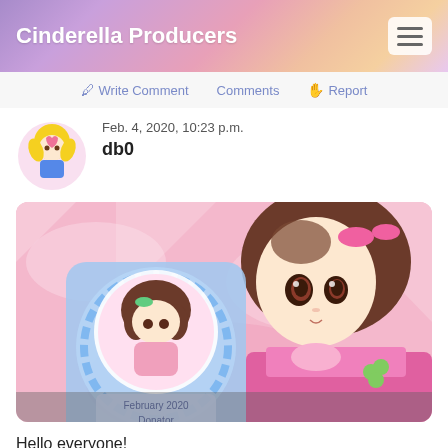Cinderella Producers
✏ Write Comment   Comments   ✋ Report
Feb. 4, 2020, 10:23 p.m.
db0
[Figure (illustration): Anime-style illustration showing a pink-themed card with a chibi character in a circular badge labeled 'February 2020 Donator' and a larger anime girl with brown hair and brown eyes in pink outfit]
Hello everyone!
Did you know that we give away one different badge every month to our donators?
This month's badge features Chieri